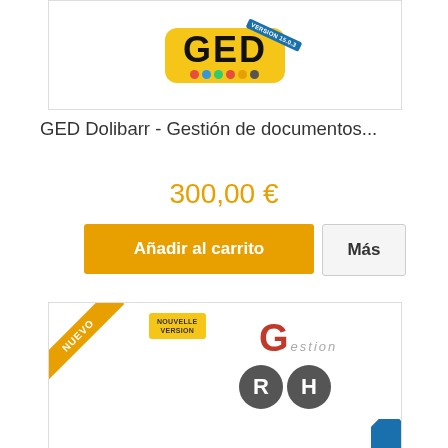[Figure (logo): GED Dolibarr software logo on yellow badge with version ribbon 15.0.3]
GED Dolibarr - Gestión de documentos...
300,00 €
Añadir al carrito
Más
[Figure (logo): RGH Gestion logo with NUEVO ribbon and Nouvelle Version badge]